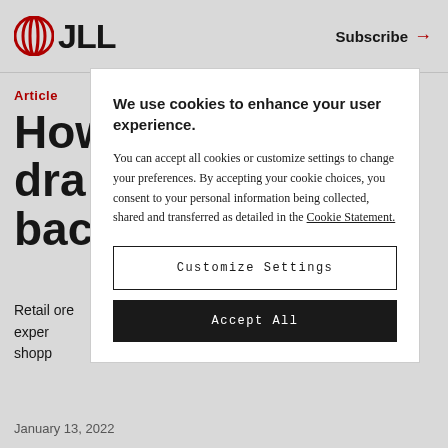JLL | Subscribe →
Article
How to draw back
Retail experience shoppers
We use cookies to enhance your user experience. You can accept all cookies or customize settings to change your preferences. By accepting your cookie choices, you consent to your personal information being collected, shared and transferred as detailed in the Cookie Statement.
Customize Settings
Accept All
January 13, 2022